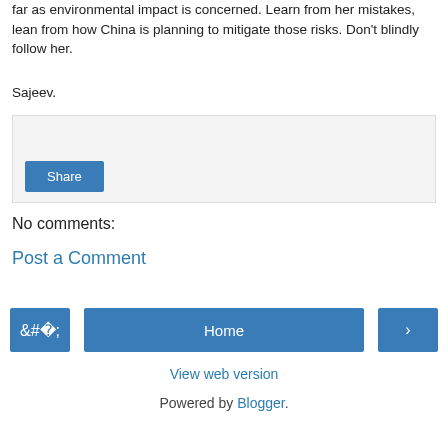far as environmental impact is concerned. Learn from her mistakes, lean from how China is planning to mitigate those risks. Don't blindly follow her.
Sajeev.
[Figure (screenshot): Share button area with light gray background box and a blue Share button]
No comments:
Post a Comment
[Figure (screenshot): Navigation bar with left arrow button, Home button, and right arrow button]
View web version
Powered by Blogger.